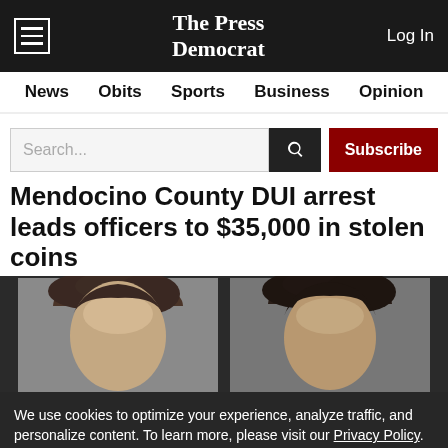The Press Democrat — Log In
News  Obits  Sports  Business  Opinion
Mendocino County DUI arrest leads officers to $35,000 in stolen coins
[Figure (photo): Mugshot photos of two individuals, cropped to show tops of heads against gray background]
We use cookies to optimize your experience, analyze traffic, and personalize content. To learn more, please visit our Privacy Policy.